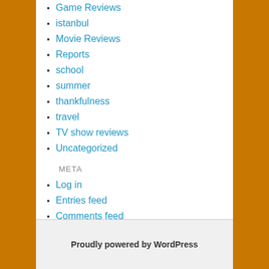Game Reviews
istanbul
Movie Reviews
Reports
school
summer
thankfulness
travel
TV show reviews
Uncategorized
META
Log in
Entries feed
Comments feed
WordPress.org
Proudly powered by WordPress